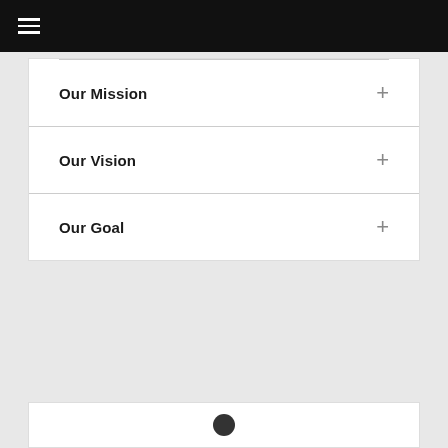≡ (hamburger menu)
Our Mission
Our Vision
Our Goal